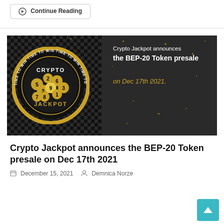Continue Reading
[Figure (illustration): Crypto Jackpot banner image with dark checkered background, lottery balls with numbers, circular logo reading CRYPTO JACKPOT with TIME TO WIN border, and text 'Crypto Jackpot announces the BEP-20 Token presale on Dec 17th 2021.']
Crypto Jackpot announces the BEP-20 Token presale on Dec 17th 2021
December 15, 2021   Demnica Norze